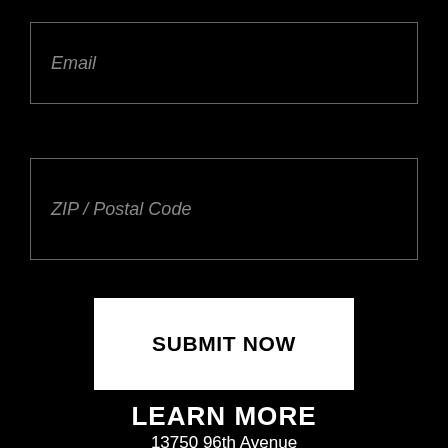Email
ZIP / Postal Code
SUBMIT NOW
13750 96th Avenue
Surrey, BC V3V 1Z2
LEARN MORE